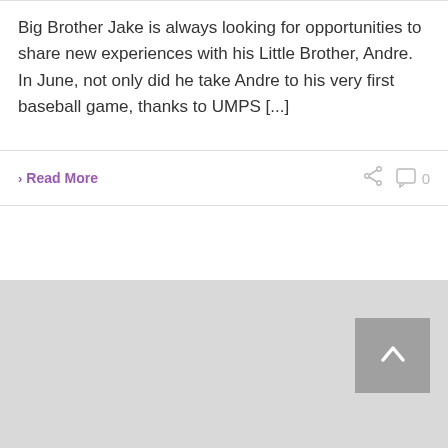Big Brother Jake is always looking for opportunities to share new experiences with his Little Brother, Andre. In June, not only did he take Andre to his very first baseball game, thanks to UMPS [...]
> Read More
[Figure (other): Gray placeholder content block with a scroll-to-top button in the bottom-right corner showing an upward arrow]